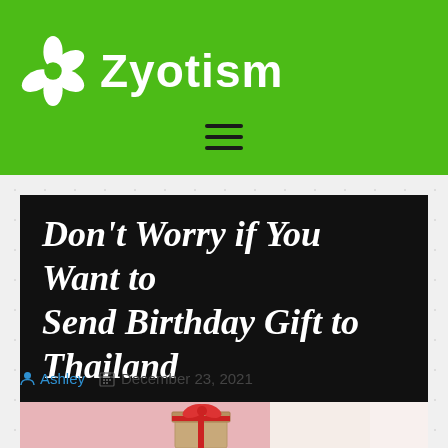[Figure (logo): Zyotism website logo with white flower icon and green background]
Don't Worry if You Want to Send Birthday Gift to Thailand
Ashley  December 23, 2021
[Figure (photo): Birthday gift box with red bow ribbon on pink background]